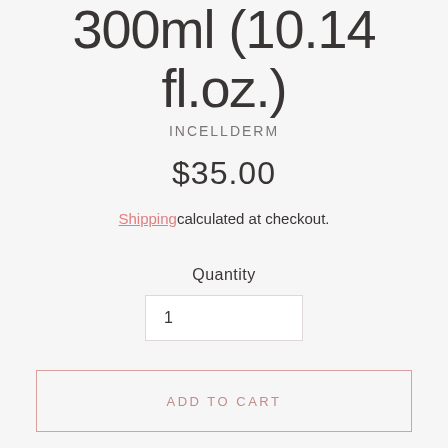300ml (10.14 fl.oz.)
INCELLDERM
$35.00
Shipping calculated at checkout.
Quantity
1
ADD TO CART